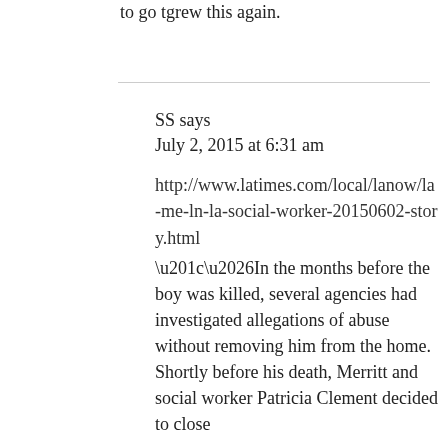to go tgrew this again.
SS says
July 2, 2015 at 6:31 am
http://www.latimes.com/local/lanow/la-me-ln-la-social-worker-20150602-story.html
“…In the months before the boy was killed, several agencies had investigated allegations of abuse without removing him from the home. Shortly before his death, Merritt and social worker Patricia Clement decided to close